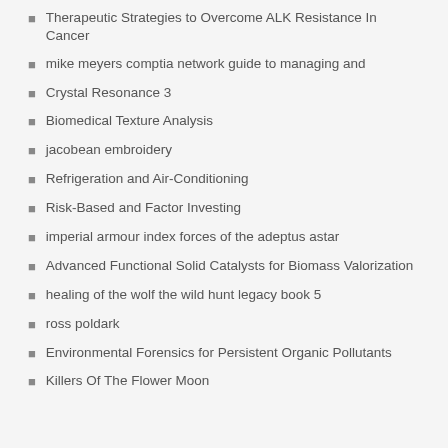Therapeutic Strategies to Overcome ALK Resistance In Cancer
mike meyers comptia network guide to managing and
Crystal Resonance 3
Biomedical Texture Analysis
jacobean embroidery
Refrigeration and Air-Conditioning
Risk-Based and Factor Investing
imperial armour index forces of the adeptus astar
Advanced Functional Solid Catalysts for Biomass Valorization
healing of the wolf the wild hunt legacy book 5
ross poldark
Environmental Forensics for Persistent Organic Pollutants
Killers Of The Flower Moon